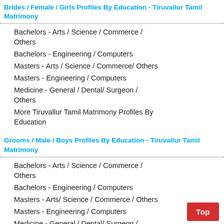Brides / Female / Girls Profiles By Education - Tiruvallur Tamil Matrimony
Bachelors - Arts / Science / Commerce / Others
Bachelors - Engineering / Computers
Masters - Arts / Science / Commerce/ Others
Masters - Engineering / Computers
Medicine - General / Dental/ Surgeon / Others
More Tiruvallur Tamil Matrimony Profiles By Education
Grooms / Male / Boys Profiles By Education - Tiruvallur Tamil Matrimony
Bachelors - Arts / Science / Commerce / Others
Bachelors - Engineering / Computers
Masters - Arts/ Science / Commerce / Others
Masters - Engineering / Computers
Medicine - General / Dental/ Surgeon / Others
More Tiruvallur Tamil Matrimony Profiles By Education